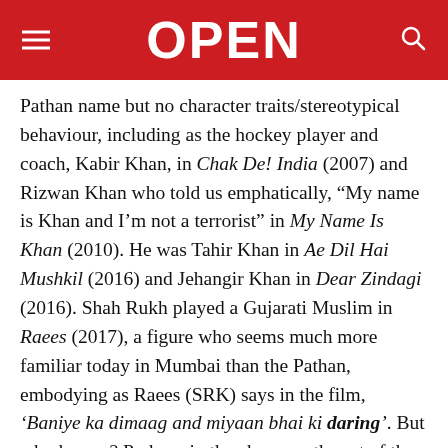OPEN
Pathan name but no character traits/stereotypical behaviour, including as the hockey player and coach, Kabir Khan, in Chak De! India (2007) and Rizwan Khan who told us emphatically, “My name is Khan and I’m not a terrorist” in My Name Is Khan (2010). He was Tahir Khan in Ae Dil Hai Mushkil (2016) and Jehangir Khan in Dear Zindagi (2016). Shah Rukh played a Gujarati Muslim in Raees (2017), a figure who seems much more familiar today in Mumbai than the Pathan, embodying as Raees (SRK) says in the film, ‘Baniye ka dimaag and miyaan bhai ki daring’. But who knows? Perhaps in the chaos northwest of the Indian border, the